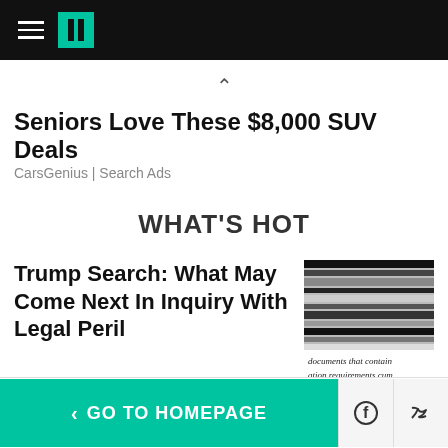HuffPost navigation header
^
Seniors Love These $8,000 SUV Deals
CarsGenius | Search Ads
WHAT'S HOT
Trump Search: What May Come Next In Inquiry With Legal Peril
[Figure (photo): Document image with horizontal black and white stripes and text reading 'documents that contain', 'ation requirements cum', 'at evidence of obstruc']
< GO TO HOMEPAGE